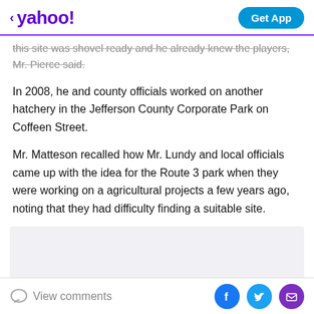yahoo! Get App
this site was shovel ready and he already knew the players, Mr. Pierce said.
In 2008, he and county officials worked on another hatchery in the Jefferson County Corporate Park on Coffeen Street.
Mr. Matteson recalled how Mr. Lundy and local officials came up with the idea for the Route 3 park when they were working on a agricultural projects a few years ago, noting that they had difficulty finding a suitable site.
[Figure (other): Gray advertisement placeholder box]
View comments | Facebook | Twitter | Email share icons